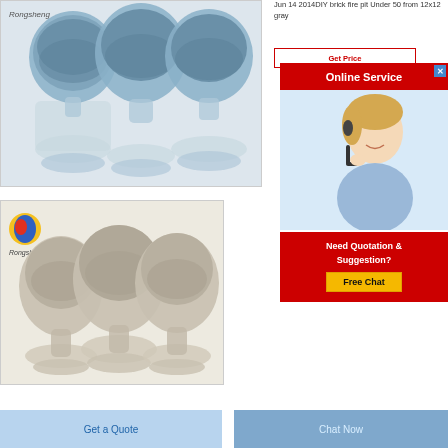[Figure (photo): Photo of three blue-gray powder samples in clear hourglass-shaped containers with 'Rongsheng' logo in top-left corner]
Jun 14 2014DIY brick fire pit Under 50 from 12x12 gray
[Figure (photo): Red 'Online Service' banner with close X button]
[Figure (photo): Customer service agent woman with headset smiling]
[Figure (photo): Photo of three beige/gray powder samples in clear containers with Rongsheng logo]
[Figure (infographic): Red box with 'Need Quotation & Suggestion?' text and yellow 'Free Chat' button]
Get a Quote
Chat Now